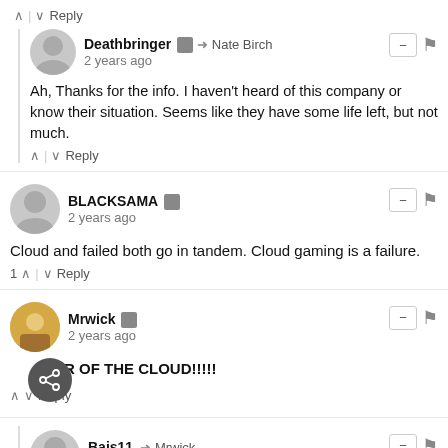^ | v Reply
Deathbringer → Nate Birch
2 years ago
Ah, Thanks for the info. I haven't heard of this company or know their situation. Seems like they have some life left, but not much.
^ | v Reply
BLACKSAMA
2 years ago
Cloud and failed both go in tandem. Cloud gaming is a failure.
1 ^ | v Reply
Mrwick
2 years ago
POWER OF THE CLOUD!!!!!
^ v Reply
Bajs11 → Mrwick
2 years ago